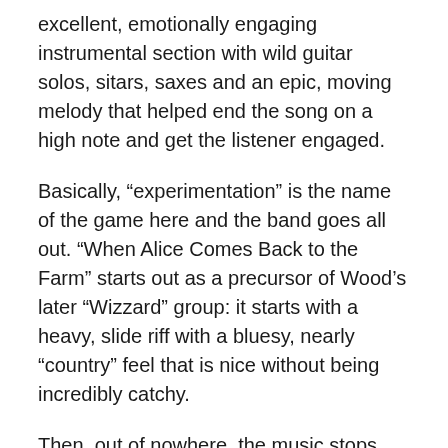excellent, emotionally engaging instrumental section with wild guitar solos, sitars, saxes and an epic, moving melody that helped end the song on a high note and get the listener engaged.
Basically, “experimentation” is the name of the game here and the band goes all out. “When Alice Comes Back to the Farm” starts out as a precursor of Wood’s later “Wizzard” group: it starts with a heavy, slide riff with a bluesy, nearly “country” feel that is nice without being incredibly catchy.
Then, out of nowhere, the music stops and a striking and loud cello riff pops up for a few seconds. Why hello, ELO! I knew you were coming. Roy then overdubs an army of saxophones during the verses and choruses that has to be hard to be believed.
And then there’s the infamous “Brontosaurus” with it’s